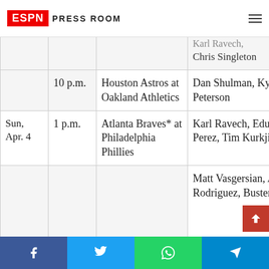ESPN Press Room
| Date | Time | Game | Announcers | Network |
| --- | --- | --- | --- | --- |
|  |  |  | Karl Ravech, Chris Singleton |  |
|  | 10 p.m. | Houston Astros at Oakland Athletics | Dan Shulman, Kyle Peterson | ESPN, ESPN |
| Sun, Apr. 4 | 1 p.m. | Atlanta Braves* at Philadelphia Phillies | Karl Ravech, Eduardo Perez, Tim Kurkjian | ESPN, ESPN |
|  |  |  | Matt Vasgersian, Alex Rodriguez, Buster Olney |  |
Facebook Twitter WhatsApp Telegram